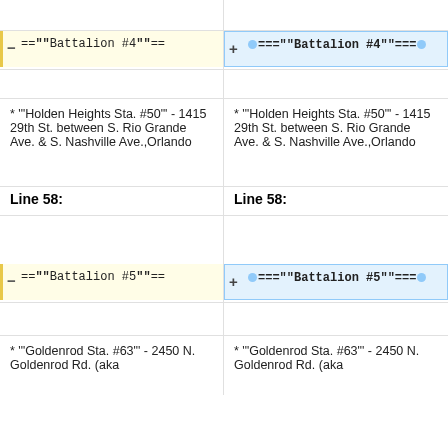–=="""Battalion #4"""==
+==="""Battalion #4"""===
* '"Holden Heights Sta. #50"' - 1415 29th St. between S. Rio Grande Ave. & S. Nashville Ave.,Orlando
* '"Holden Heights Sta. #50"' - 1415 29th St. between S. Rio Grande Ave. & S. Nashville Ave.,Orlando
Line 58:
Line 58:
–=="""Battalion #5"""==
+==="""Battalion #5"""===
* '"Goldenrod Sta. #63"' - 2450 N. Goldenrod Rd. (aka
* '"Goldenrod Sta. #63"' - 2450 N. Goldenrod Rd. (aka